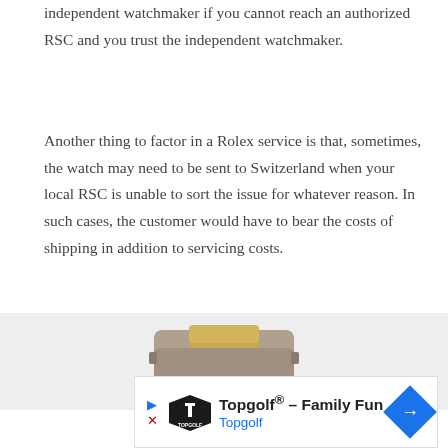independent watchmaker if you cannot reach an authorized RSC and you trust the independent watchmaker.
Another thing to factor in a Rolex service is that, sometimes, the watch may need to be sent to Switzerland when your local RSC is unable to sort the issue for whatever reason. In such cases, the customer would have to bear the costs of shipping in addition to servicing costs.
[Figure (photo): Partial image of a Rolex watch, showing the case and bracelet from above against a grey background]
[Figure (other): Advertisement banner for Topgolf Family Fun with Topgolf logo, play and close buttons, and a blue diamond-shaped navigation arrow]